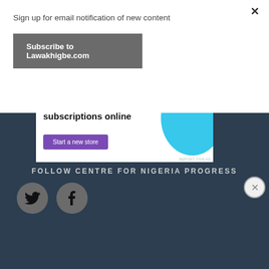Sign up for email notification of new content
Subscribe to Lawakhigbe.com
[Figure (screenshot): Advertisement banner showing 'How to start selling subscriptions online' with a 'Start a new store' purple button and cyan circle graphic on white background]
FOLLOW CENTRE FOR NIGERIA PROGRESS
[Figure (illustration): Twitter bird icon in dark grey circle]
[Figure (illustration): Facebook f icon in dark grey circle]
Advertisements
[Figure (screenshot): DuckDuckGo advertisement: 'Search, browse, and email with more privacy. All in One Free App' on orange/red background with DuckDuckGo logo on dark background]